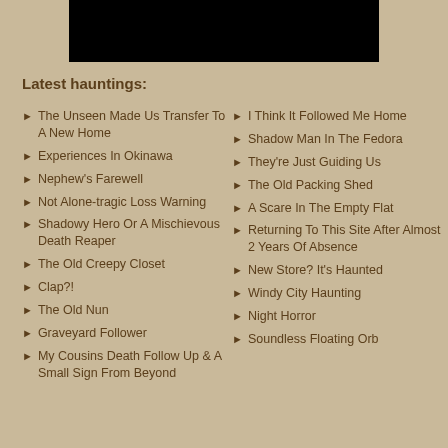[Figure (other): Black rectangle banner/logo area at top center]
Latest hauntings:
The Unseen Made Us Transfer To A New Home
Experiences In Okinawa
Nephew's Farewell
Not Alone-tragic Loss Warning
Shadowy Hero Or A Mischievous Death Reaper
The Old Creepy Closet
Clap?!
The Old Nun
Graveyard Follower
My Cousins Death Follow Up & A Small Sign From Beyond
I Think It Followed Me Home
Shadow Man In The Fedora
They're Just Guiding Us
The Old Packing Shed
A Scare In The Empty Flat
Returning To This Site After Almost 2 Years Of Absence
New Store? It's Haunted
Windy City Haunting
Night Horror
Soundless Floating Orb